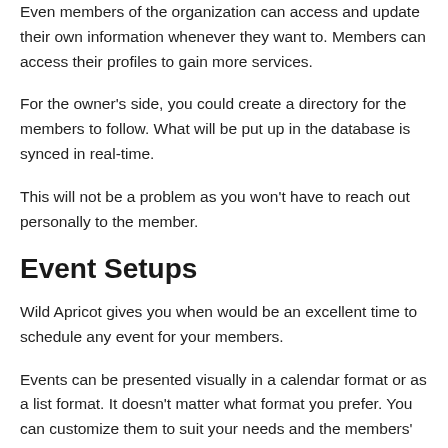Even members of the organization can access and update their own information whenever they want to. Members can access their profiles to gain more services.
For the owner's side, you could create a directory for the members to follow. What will be put up in the database is synced in real-time.
This will not be a problem as you won't have to reach out personally to the member.
Event Setups
Wild Apricot gives you when would be an excellent time to schedule any event for your members.
Events can be presented visually in a calendar format or as a list format. It doesn't matter what format you prefer. You can customize them to suit your needs and the members' wishes, so that each side receives their own benefits.